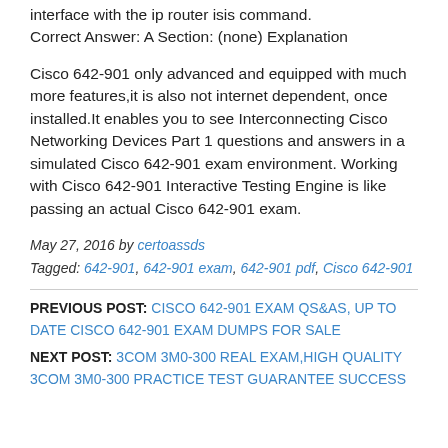interface with the ip router isis command.
Correct Answer: A Section: (none) Explanation
Cisco 642-901 only advanced and equipped with much more features,it is also not internet dependent, once installed.It enables you to see Interconnecting Cisco Networking Devices Part 1 questions and answers in a simulated Cisco 642-901 exam environment. Working with Cisco 642-901 Interactive Testing Engine is like passing an actual Cisco 642-901 exam.
May 27, 2016 by certoassds
Tagged: 642-901, 642-901 exam, 642-901 pdf, Cisco 642-901
PREVIOUS POST: CISCO 642-901 EXAM QS&AS, UP TO DATE CISCO 642-901 EXAM DUMPS FOR SALE
NEXT POST: 3COM 3M0-300 REAL EXAM,HIGH QUALITY 3COM 3M0-300 PRACTICE TEST GUARANTEE SUCCESS